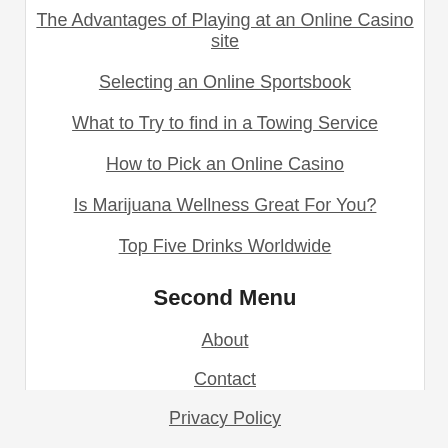The Advantages of Playing at an Online Casino site
Selecting an Online Sportsbook
What to Try to find in a Towing Service
How to Pick an Online Casino
Is Marijuana Wellness Great For You?
Top Five Drinks Worldwide
Second Menu
About
Contact
Privacy Policy